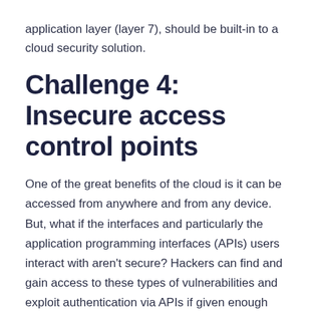application layer (layer 7), should be built-in to a cloud security solution.
Challenge 4: Insecure access control points
One of the great benefits of the cloud is it can be accessed from anywhere and from any device. But, what if the interfaces and particularly the application programming interfaces (APIs) users interact with aren't secure? Hackers can find and gain access to these types of vulnerabilities and exploit authentication via APIs if given enough time.